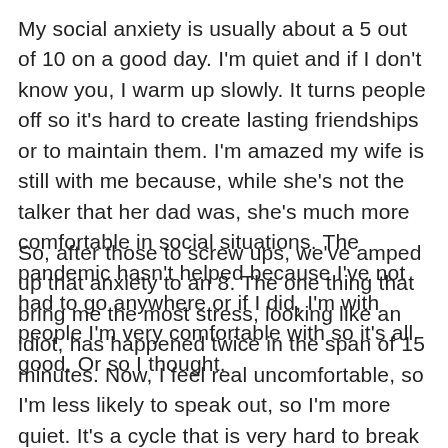My social anxiety is usually about a 5 out of 10 on a good day. I'm quiet and if I don't know you, I warm up slowly. It turns people off so it's hard to create lasting friendships or to maintain them. I'm amazed my wife is still with me because, while she's not the talker that her dad was, she's much more comfortable in social situations. The pandemic hasn't helped because I've not had to go anywhere or if I did, I'm with people I'm very comfortable with so it's all good. Or so I thought.
So, after those to screw ups, we've amped up that anxiety to an 8. The one thing that bring me the most stress, looking like an idiot, has happened twice in the span of 15 minutes. Now, I feel real uncomfortable, so I'm less likely to speak out, so I'm more quiet. It's a cycle that is very hard to break and that's a whole different blog! 🙂